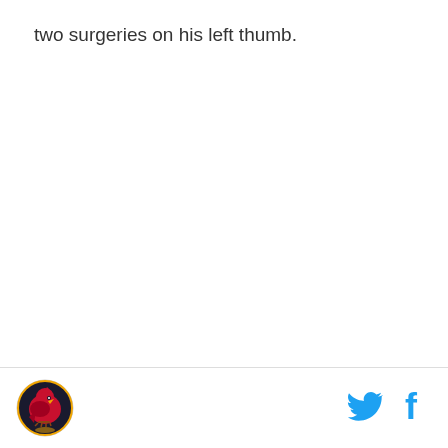two surgeries on his left thumb.
Following last night's game, in which Molina went 1-for-2 with a pinch-hit double and two runs knocked in, here
[Figure (logo): St. Louis Cardinals circular logo with red cardinal bird]
[Figure (logo): Twitter bird icon in cyan/blue]
[Figure (logo): Facebook 'f' icon in cyan/blue]